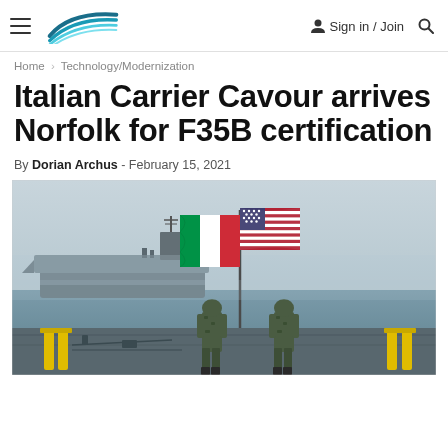USNI News — Sign in / Join
Home › Technology/Modernization
Italian Carrier Cavour arrives Norfolk for F35B certification
By Dorian Archus - February 15, 2021
[Figure (photo): Two naval servicemembers in camouflage uniforms standing on a dock holding the Italian flag and the American flag, with the Italian aircraft carrier Cavour visible in the misty background at Norfolk Naval Station.]